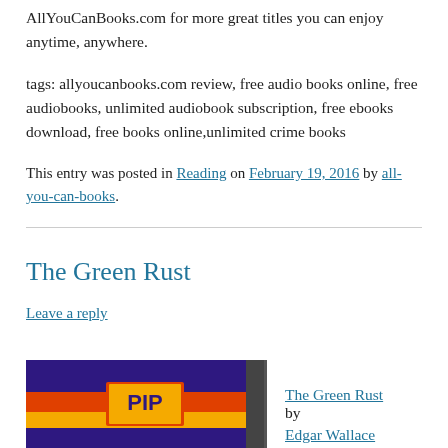AllYouCanBooks.com for more great titles you can enjoy anytime, anywhere.
tags: allyoucanbooks.com review, free audio books online, free audiobooks, unlimited audiobook subscription, free ebooks download, free books online,unlimited crime books
This entry was posted in Reading on February 19, 2016 by all-you-can-books.
The Green Rust
Leave a reply
The Green Rust by Edgar Wallace